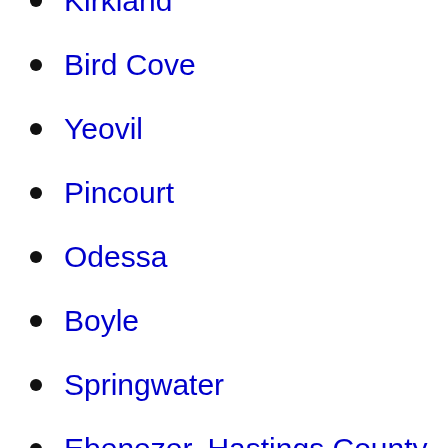Kirkland
Bird Cove
Yeovil
Pincourt
Odessa
Boyle
Springwater
Ebenezer, Hastings County,
Lancaster
Fanshawe
Massanoga
Lac-Megantic